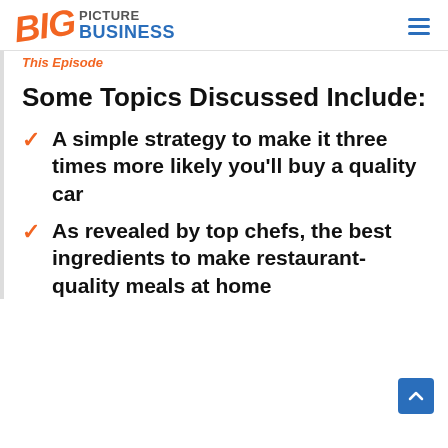BIG PICTURE BUSINESS
This Episode
Some Topics Discussed Include:
A simple strategy to make it three times more likely you'll buy a quality car
As revealed by top chefs, the best ingredients to make restaurant-quality meals at home